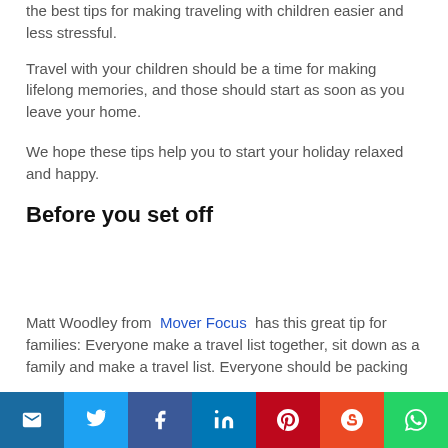the best tips for making traveling with children easier and less stressful.
Travel with your children should be a time for making lifelong memories, and those should start as soon as you leave your home.
We hope these tips help you to start your holiday relaxed and happy.
Before you set off
Matt Woodley from  Mover Focus  has this great tip for families: Everyone make a travel list together, sit down as a family and make a travel list. Everyone should be packing
@ | Twitter | Facebook | LinkedIn | Pinterest | StumbleUpon | WhatsApp